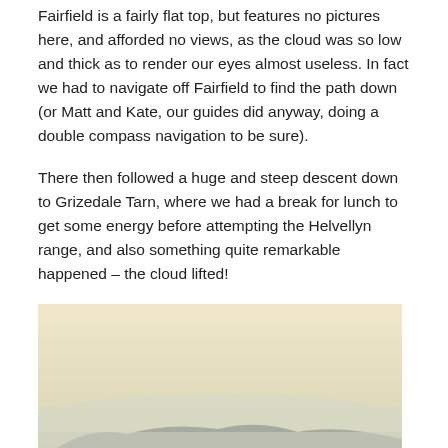Fairfield is a fairly flat top, but features no pictures here, and afforded no views, as the cloud was so low and thick as to render our eyes almost useless. In fact we had to navigate off Fairfield to find the path down (or Matt and Kate, our guides did anyway, doing a double compass navigation to be sure).
There then followed a huge and steep descent down to Grizedale Tarn, where we had a break for lunch to get some energy before attempting the Helvellyn range, and also something quite remarkable happened – the cloud lifted!
[Figure (photo): A hazy landscape photograph showing mountains or hills partially obscured by low cloud or mist, with a pale yellowish sky above and grey-toned mountain ridges below.]